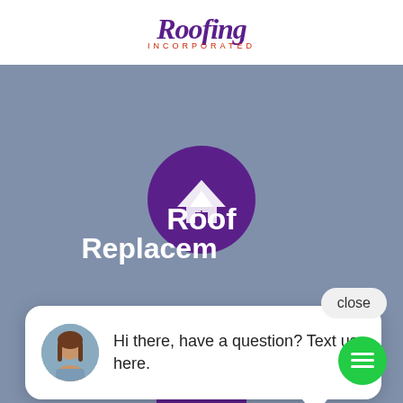[Figure (screenshot): Roofing Incorporated company logo at top — script font brand name in purple with 'Incorporated' in red lettering below]
[Figure (screenshot): Full screenshot of a roofing company website with a blue-grey background, a purple circular icon with white roof/house graphic, text reading 'Roof Replacem...' and 'Replacement & Cleanup', a live chat popup bubble with avatar photo and message 'Hi there, have a question? Text us here.', a close button, and a green chat icon button in the bottom right corner.]